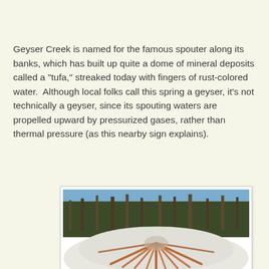Geyser Creek is named for the famous spouter along its banks, which has built up quite a dome of mineral deposits called a "tufa," streaked today with fingers of rust-colored water.  Although local folks call this spring a geyser, it's not technically a geyser, since its spouting waters are propelled upward by pressurized gases, rather than thermal pressure (as this nearby sign explains).
[Figure (photo): Winter photograph of Geyser Creek's tufa dome covered in snow, with rust-colored mineral streaks radiating outward from the center across the white dome surface. Bare trees and evergreens visible in the background against a blue sky. Water visible in the foreground.]